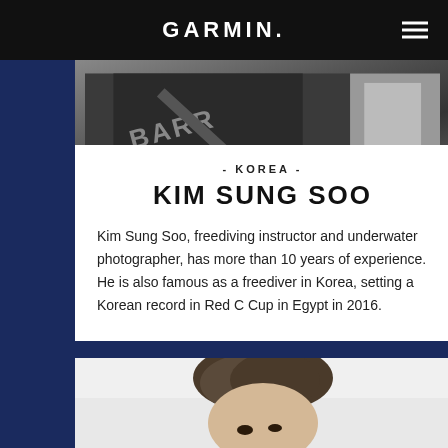GARMIN
[Figure (photo): Photo of Kim Sung Soo wearing black outfit with BARR text visible, holding camera equipment with a smartwatch on wrist]
- KOREA -
KIM SUNG SOO
Kim Sung Soo, freediving instructor and underwater photographer, has more than 10 years of experience. He is also famous as a freediver in Korea, setting a Korean record in Red C Cup in Egypt in 2016.
[Figure (photo): Portrait photo of a person, showing top of head with dark hair and eyes looking upward]